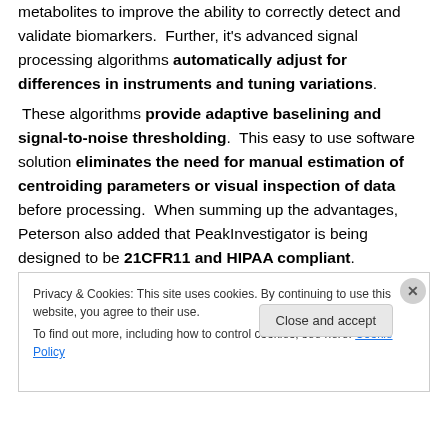metabolites to improve the ability to correctly detect and validate biomarkers. Further, it's advanced signal processing algorithms automatically adjust for differences in instruments and tuning variations. These algorithms provide adaptive baselining and signal-to-noise thresholding. This easy to use software solution eliminates the need for manual estimation of centroiding parameters or visual inspection of data before processing. When summing up the advantages, Peterson also added that PeakInvestigator is being designed to be 21CFR11 and HIPAA compliant.
Privacy & Cookies: This site uses cookies. By continuing to use this website, you agree to their use. To find out more, including how to control cookies, see here: Cookie Policy
Close and accept